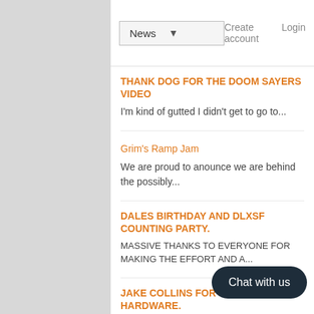News  Create account  Login
THANK DOG FOR THE DOOM SAYERS VIDEO
I'm kind of gutted I didn't get to go to...
Grim's Ramp Jam
We are proud to anounce we are behind the possibly...
DALES BIRTHDAY AND DLXSF COUNTING PARTY.
MASSIVE THANKS TO EVERYONE FOR MAKING THE EFFORT AND A...
JAKE COLLINS FOR WITCHCRAFT HARDWARE.
FREESTYLE TEAM RIDER JAKE C... PRODUCED A REDICULOUS EDIT...